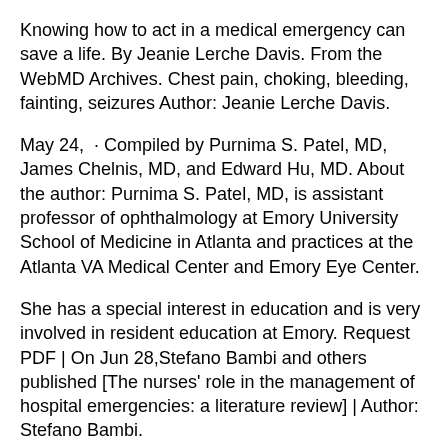Knowing how to act in a medical emergency can save a life. By Jeanie Lerche Davis. From the WebMD Archives. Chest pain, choking, bleeding, fainting, seizures Author: Jeanie Lerche Davis.
May 24,  · Compiled by Purnima S. Patel, MD, James Chelnis, MD, and Edward Hu, MD. About the author: Purnima S. Patel, MD, is assistant professor of ophthalmology at Emory University School of Medicine in Atlanta and practices at the Atlanta VA Medical Center and Emory Eye Center.
She has a special interest in education and is very involved in resident education at Emory. Request PDF | On Jun 28,Stefano Bambi and others published [The nurses' role in the management of hospital emergencies: a literature review] | Author: Stefano Bambi.
Book reviews; Events. Nursing Times Workforce Summit and Awards can be controlled for some months but need to be regarded as emergencies in order to avoid severe permanent damage and to maintain the patient's quality of life for as long as possible.